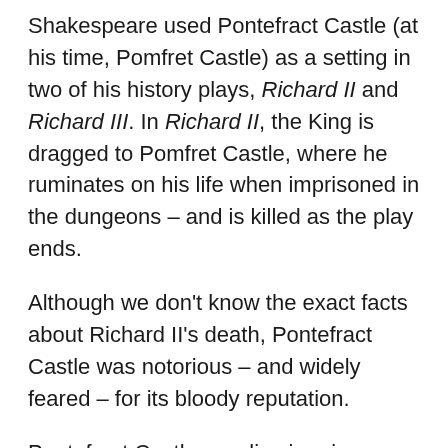Shakespeare used Pontefract Castle (at his time, Pomfret Castle) as a setting in two of his history plays, Richard II and Richard III. In Richard II, the King is dragged to Pomfret Castle, where he ruminates on his life when imprisoned in the dungeons – and is killed as the play ends.
Although we don't know the exact facts about Richard II's death, Pontefract Castle was notorious – and widely feared – for its bloody reputation.
Pontefract Castle now lies in ruins, some of which are open to visitors.
Read: Places that inspired famous authors
Jerusalem Chamber